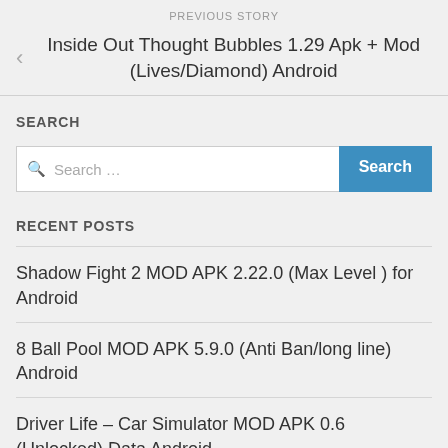PREVIOUS STORY
Inside Out Thought Bubbles 1.29 Apk + Mod (Lives/Diamond) Android
SEARCH
Search …
RECENT POSTS
Shadow Fight 2 MOD APK 2.22.0 (Max Level ) for Android
8 Ball Pool MOD APK 5.9.0 (Anti Ban/long line) Android
Driver Life – Car Simulator MOD APK 0.6 (Unlocked) Data Android
Bus Simulator Indonesia 3.7.1 Apk + Mod (Money) + Data